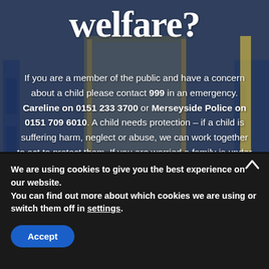[Figure (photo): Background photo of school building/corridor with blue and yellow tones, people visible in background, overlaid with large white text.]
welfare?
If you are a member of the public and have a concern about a child please contact 999 in an emergency. Careline on 0151 233 3700 or Merseyside Police on 0151 709 6010. A child needs protection – if a child is suffering harm, neglect or abuse, we can work together to act to protect them. If you are worried a family is under stress – careline can offer support and advice and help families access support from other.
We are using cookies to give you the best experience on our website.
You can find out more about which cookies we are using or switch them off in settings.
Accept